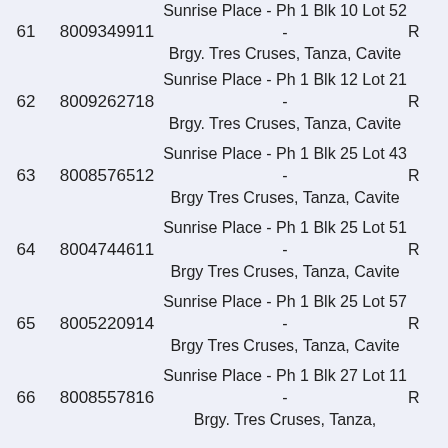| # | ID | Address |  |
| --- | --- | --- | --- |
| 61 | 8009349911 | Sunrise Place - Ph 1 Blk 10 Lot 52 - Brgy. Tres Cruses, Tanza, Cavite | R |
| 62 | 8009262718 | Sunrise Place - Ph 1 Blk 12 Lot 21 - Brgy. Tres Cruses, Tanza, Cavite | R |
| 63 | 8008576512 | Sunrise Place - Ph 1 Blk 25 Lot 43 - Brgy Tres Cruses, Tanza, Cavite | R |
| 64 | 8004744611 | Sunrise Place - Ph 1 Blk 25 Lot 51 - Brgy Tres Cruses, Tanza, Cavite | R |
| 65 | 8005220914 | Sunrise Place - Ph 1 Blk 25 Lot 57 - Brgy Tres Cruses, Tanza, Cavite | R |
| 66 | 8008557816 | Sunrise Place - Ph 1 Blk 27 Lot 11 - Brgy. Tres Cruses, Tanza, Cavite | R |